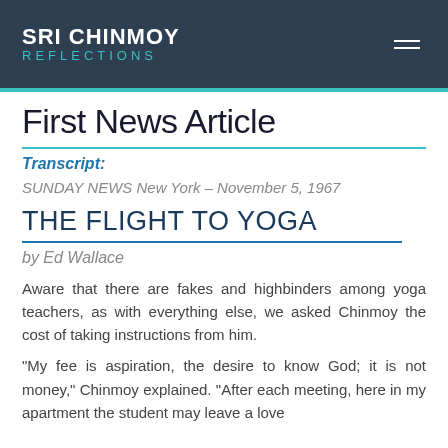SRI CHINMOY REFLECTIONS
First News Article
Transcript:
SUNDAY NEWS New York – November 5, 1967
THE FLIGHT TO YOGA
by Ed Wallace
Aware that there are fakes and highbinders among yoga teachers, as with everything else, we asked Chinmoy the cost of taking instructions from him.
“My fee is aspiration, the desire to know God; it is not money,” Chinmoy explained. “After each meeting, here in my apartment the student may leave a love